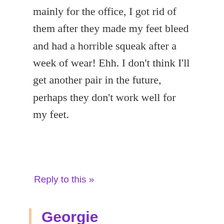mainly for the office, I got rid of them after they made my feet bleed and had a horrible squeak after a week of wear! Ehh. I don't think I'll get another pair in the future, perhaps they don't work well for my feet.
Reply to this »
Georgie
2 June 2016, 1:15pm
Oh no! :( I will have to see for myself. I have a pair of heels that have a squeak in them because of the way the body of the shoe and the sole are attached. When I walk it squeaks.